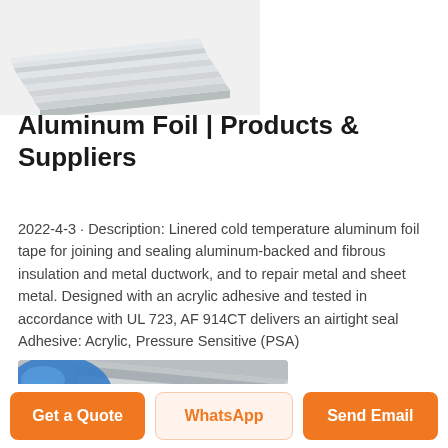[Figure (photo): Stack of aluminum foil sheets photographed at angle, gray metallic appearance, shown in upper left area]
Aluminum Foil | Products & Suppliers
2022-4-3 · Description: Linered cold temperature aluminum foil tape for joining and sealing aluminum-backed and fibrous insulation and metal ductwork, and to repair metal and sheet metal. Designed with an acrylic adhesive and tested in accordance with UL 723, AF 914CT delivers an airtight seal Adhesive: Acrylic, Pressure Sensitive (PSA)
[Figure (photo): Close-up photo of aluminum foil sheet with blue gloved hand in upper left corner, gray metallic surface]
Get a Quote
WhatsApp
Send Email